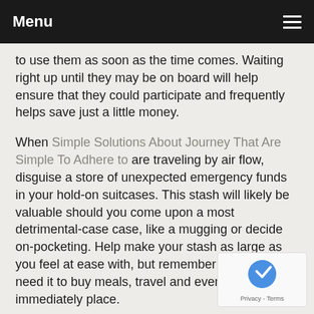Menu
to use them as soon as the time comes. Waiting right up until they may be on board will help ensure that they could participate and frequently helps save just a little money.
When Simple Solutions About Journey That Are Simple To Adhere to are traveling by air flow, disguise a store of unexpected emergency funds in your hold-on suitcases. This stash will likely be valuable should you come upon a most detrimental-case case, like a mugging or decide on-pocketing. Help make your stash as large as you feel at ease with, but remember you might need it to buy meals, travel and even an immediately place.
Vocabulary is the key to making your trip less difficult receiving greater services. Overseas travel is fantastic fun